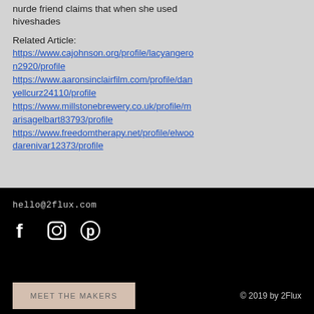nurde friend claims that when she used hiveshades
Related Article:
https://www.cajohnson.org/profile/lacyangeron2920/profile https://www.aaronsinclairfilm.com/profile/danyellcurz24110/profile https://www.millstonebrewery.co.uk/profile/marisagelbart83793/profile https://www.freedomtherapy.net/profile/elwoodarenivar12373/profile
hello@2flux.com
[Figure (infographic): Social media icons: Facebook, Instagram, Pinterest in white on black background]
MEET THE MAKERS  © 2019 by 2Flux